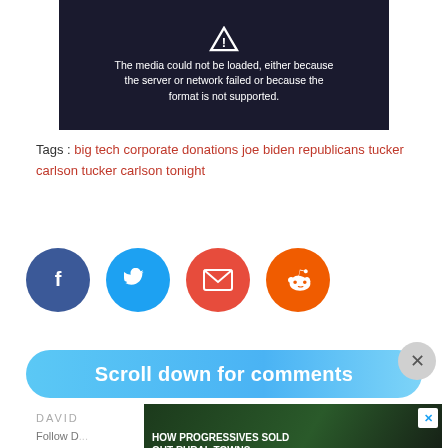[Figure (screenshot): Embedded video player showing error message: 'The media could not be loaded, either because the server or network failed or because the format is not supported.' Background shows a news anchor and corporate logos (ExxonMobil, CVS pharmacy, Ford, Target).]
Tags : big tech corporate donations joe biden republicans tucker carlson tucker carlson tonight
[Figure (other): Social share buttons: Facebook (dark blue circle with f), Twitter (light blue circle with bird), Email (red circle with envelope), Reddit (orange circle with alien mascot)]
Scroll down for comments
[Figure (other): Advertisement banner: 'How progressives sold out rural towns to foreign drug lords' - Narcofornia, Watch Now button]
DAVID
Follow D...